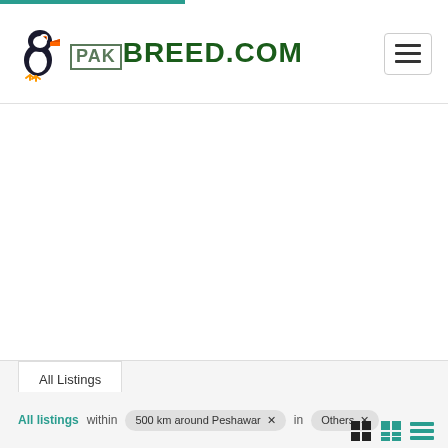[Figure (logo): PakBreed.com logo with puffin bird icon on the left and PAK in bordered text followed by BREED.COM in bold dark green]
All Listings
All listings within 500 km around Peshawar × in Others ×